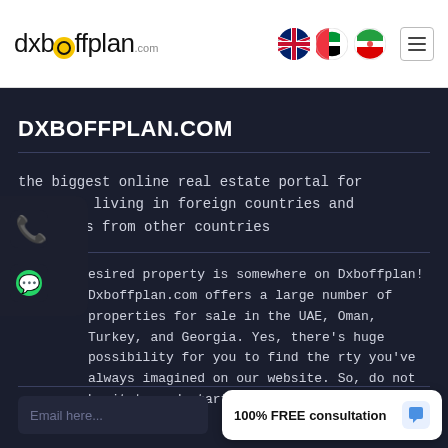[Figure (logo): dxboffplan.com logo with yellow magnifier/house dot icon]
[Figure (illustration): UK flag, UAE flag, and Iran flag circular icons for language selection]
DXBOFFPLAN.COM
the biggest online real estate portal for Iranians living in foreign countries and investors from other countries
esired property is somewhere on Dxboffplan! Dxboffplan.com offers a large number of properties for sale in the UAE, Oman, Turkey, and Georgia. Yes, there's huge possibility for you to find the rty you've always imagined on our website. So, do not hesitate and start searching!
Email here...
100% FREE consultation